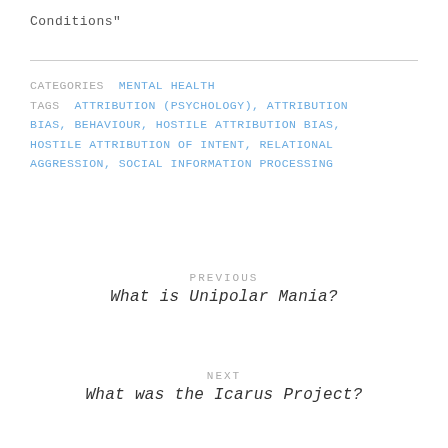Conditions"
CATEGORIES  MENTAL HEALTH
TAGS  ATTRIBUTION (PSYCHOLOGY), ATTRIBUTION BIAS, BEHAVIOUR, HOSTILE ATTRIBUTION BIAS, HOSTILE ATTRIBUTION OF INTENT, RELATIONAL AGGRESSION, SOCIAL INFORMATION PROCESSING
PREVIOUS
What is Unipolar Mania?
NEXT
What was the Icarus Project?